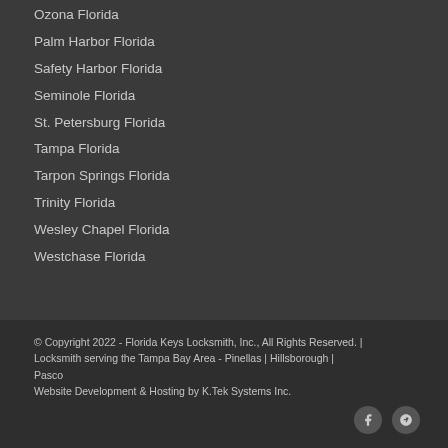Ozona Florida
Palm Harbor Florida
Safety Harbor Florida
Seminole Florida
St. Petersburg Florida
Tampa Florida
Tarpon Springs Florida
Trinity Florida
Wesley Chapel Florida
Westchase Florida
© Copyright 2022 - Florida Keys Locksmith, Inc., All Rights Reserved. | Locksmith serving the Tampa Bay Area - Pinellas | Hillsborough | Pasco
Website Development & Hosting by K.Tek Systems Inc.